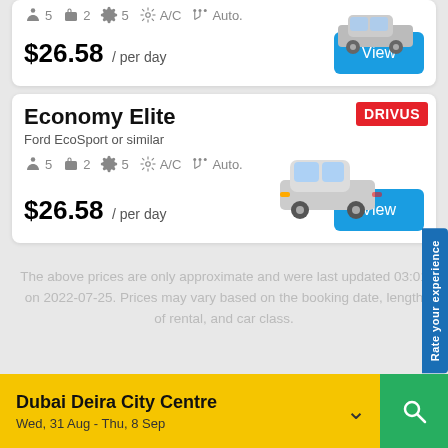5  2  5  A/C  Auto.
$26.58 / per day
Economy Elite
Ford EcoSport or similar
5  2  5  A/C  Auto.
$26.58 / per day
DRIVUS
Rate your experience
The above prices are only approximate and were last updated 03:01 on 2022-07-25. Prices may vary based on the booking date, length of rental, and car class.
Dubai Deira City Centre
Wed, 31 Aug - Thu, 8 Sep